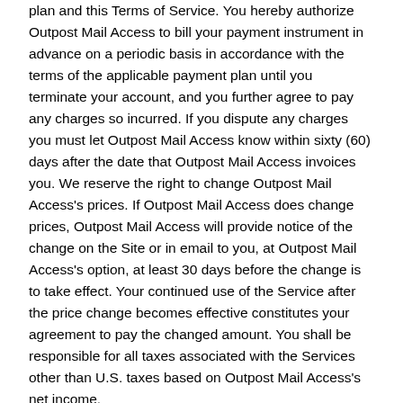plan and this Terms of Service. You hereby authorize Outpost Mail Access to bill your payment instrument in advance on a periodic basis in accordance with the terms of the applicable payment plan until you terminate your account, and you further agree to pay any charges so incurred. If you dispute any charges you must let Outpost Mail Access know within sixty (60) days after the date that Outpost Mail Access invoices you. We reserve the right to change Outpost Mail Access's prices. If Outpost Mail Access does change prices, Outpost Mail Access will provide notice of the change on the Site or in email to you, at Outpost Mail Access's option, at least 30 days before the change is to take effect. Your continued use of the Service after the price change becomes effective constitutes your agreement to pay the changed amount. You shall be responsible for all taxes associated with the Services other than U.S. taxes based on Outpost Mail Access's net income.